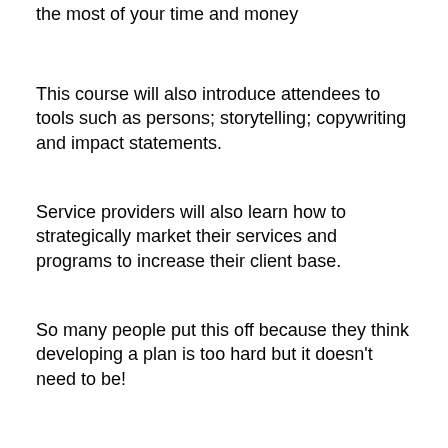the most of your time and money
This course will also introduce attendees to tools such as persons; storytelling; copywriting and impact statements.
Service providers will also learn how to strategically market their services and programs to increase their client base.
So many people put this off because they think developing a plan is too hard but it doesn't need to be!
There's so much value in this course. You'll explore how important impact statements are and why understanding your 'why' has such a big influence on determining your strategy.